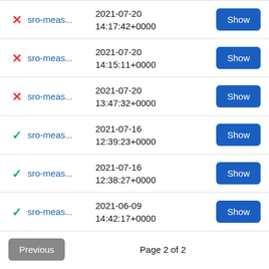✗ sro-meas... 2021-07-20 14:17:42+0000 Show
✗ sro-meas... 2021-07-20 14:15:11+0000 Show
✗ sro-meas... 2021-07-20 13:47:32+0000 Show
✓ sro-meas... 2021-07-16 12:39:23+0000 Show
✓ sro-meas... 2021-07-16 12:38:27+0000 Show
✓ sro-meas... 2021-06-09 14:42:17+0000 Show
Previous   Page 2 of 2